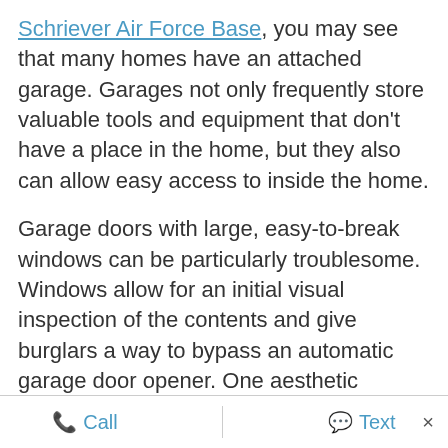Schriever Air Force Base, you may see that many homes have an attached garage. Garages not only frequently store valuable tools and equipment that don't have a place in the home, but they also can allow easy access to inside the home.
Garage doors with large, easy-to-break windows can be particularly troublesome. Windows allow for an initial visual inspection of the contents and give burglars a way to bypass an automatic garage door opener. One aesthetic solution is to cover the windows by spraying them with frosted paint. Glass panes could also be replaced with unbreakable (or
Call   Text   ×